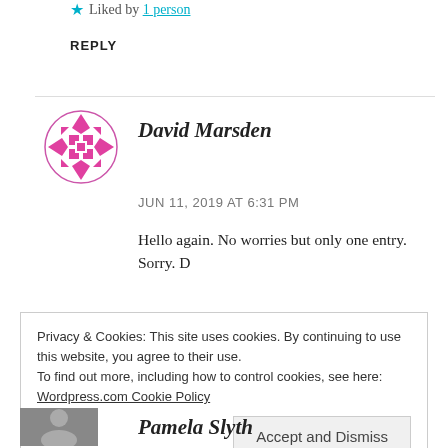★ Liked by 1 person
REPLY
[Figure (illustration): Pink pixelated/geometric circular avatar for David Marsden]
David Marsden
JUN 11, 2019 AT 6:31 PM
Hello again. No worries but only one entry. Sorry. D
Privacy & Cookies: This site uses cookies. By continuing to use this website, you agree to their use.
To find out more, including how to control cookies, see here:
Wordpress.com Cookie Policy
Accept and Dismiss
[Figure (photo): Small avatar photo for Pamela Slyth]
Pamela Slyth